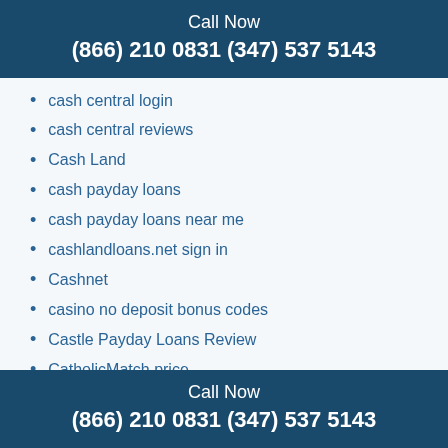Call Now
(866) 210 0831 (347) 537 5143
cash central login
cash central reviews
Cash Land
cash payday loans
cash payday loans near me
cashlandloans.net sign in
Cashnet
casino no deposit bonus codes
Castle Payday Loans Review
CatholicMatch price
catholicmatch review
catholicmatch reviews login
Catholicmatch.Com
CatholicSingles sign up
Cbd Cannabinoid
Cbd Gummies 1000Mg
Call Now
(866) 210 0831 (347) 537 5143